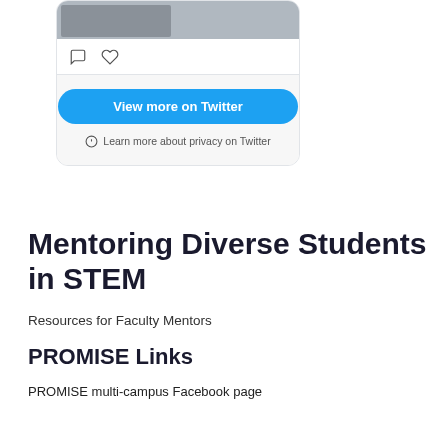[Figure (screenshot): Twitter widget card showing a partial photo strip, comment and like icons, a blue 'View more on Twitter' button, and a privacy note about Twitter]
Mentoring Diverse Students in STEM
Resources for Faculty Mentors
PROMISE Links
PROMISE multi-campus Facebook page